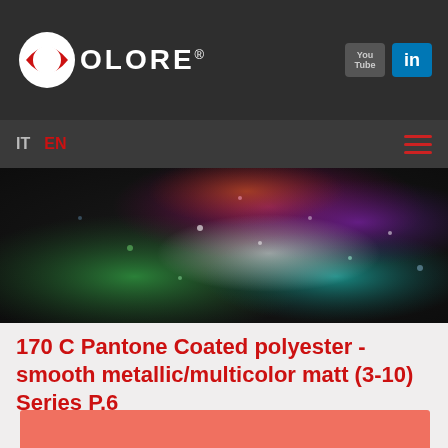COLORE
IT  EN
[Figure (photo): Colorful powder explosion on dark background — greens, pinks, teals, purples swirling in the air]
170 C Pantone Coated polyester - smooth metallic/multicolor matt (3-10) Series P.6
[Figure (other): Solid salmon/coral color swatch for Pantone 170 C]